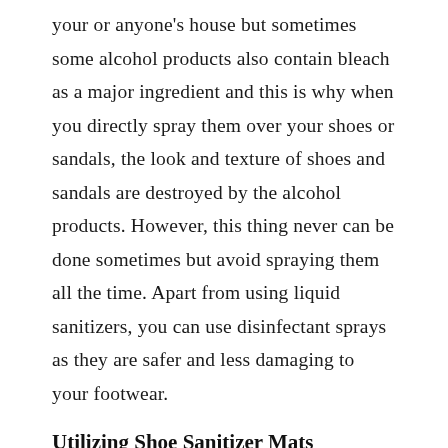your or anyone's house but sometimes some alcohol products also contain bleach as a major ingredient and this is why when you directly spray them over your shoes or sandals, the look and texture of shoes and sandals are destroyed by the alcohol products. However, this thing never can be done sometimes but avoid spraying them all the time. Apart from using liquid sanitizers, you can use disinfectant sprays as they are safer and less damaging to your footwear.
Utilizing Shoe Sanitizer Mats
The best way according to us is utilizing the